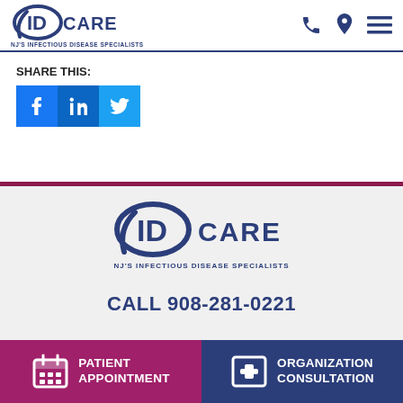ID CARE — NJ'S INFECTIOUS DISEASE SPECIALISTS
SHARE THIS:
[Figure (logo): Social share buttons: Facebook (f), LinkedIn (in), Twitter bird icon]
[Figure (logo): ID CARE logo — NJ'S INFECTIOUS DISEASE SPECIALISTS]
CALL 908-281-0221
PATIENT APPOINTMENT
ORGANIZATION CONSULTATION